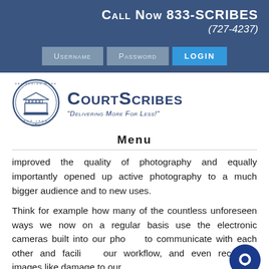Call Now 833-SCRIBES (727-4237)
[Figure (screenshot): Login bar with Username, Password fields and Login button on dark blue background]
[Figure (logo): CourtScribes logo with circular seal icon and text 'COURTSCRIBES - Delivering More For Less!']
MENU
improved the quality of photography and equally importantly opened up active photography to a much bigger audience and to new uses.
Think for example how many of the countless unforeseen ways we now on a regular basis use the electronic cameras built into our phones to communicate with each other and facilitate our workflow, and even recording images like damage to our